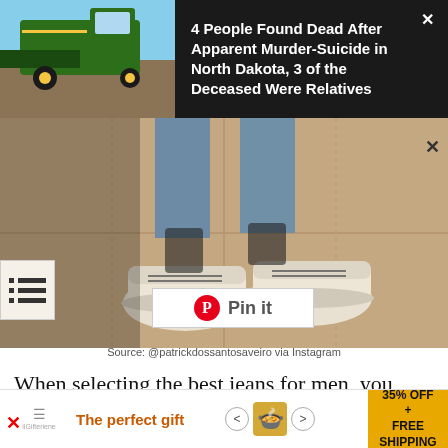[Figure (photo): Green combine harvester in a field, sky in background]
4 People Found Dead After Apparent Murder-Suicide in North Dakota, 3 of the Deceased Were Relatives
[Figure (photo): Person wearing white sneakers and blue jeans standing on pavement, viewed from ankles down]
[Figure (other): Pinterest Pin it button overlay]
Source: @patrickdossantosaveiro via Instagram
When selecting the best jeans for men, you should always consider such factors as the type
[Figure (other): Advertisement banner: The perfect gift, 35% OFF + FREE SHIPPING]